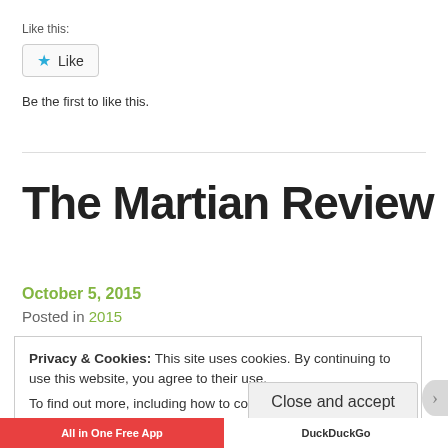Like this:
[Figure (other): Like button with star icon]
Be the first to like this.
The Martian Review
October 5, 2015
Posted in 2015
Privacy & Cookies: This site uses cookies. By continuing to use this website, you agree to their use.
To find out more, including how to control cookies, see here: Cookie Policy
Close and accept